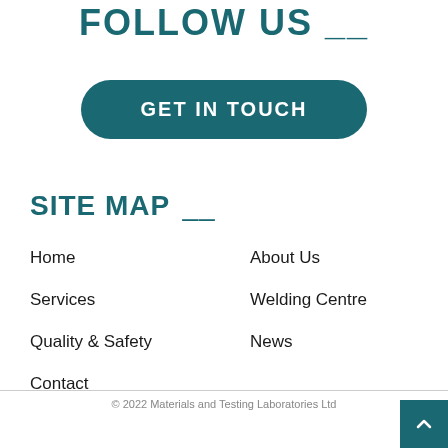FOLLOW US __
GET IN TOUCH
SITE MAP __
Home
Services
Quality & Safety
Contact
About Us
Welding Centre
News
© 2022 Materials and Testing Laboratories Ltd